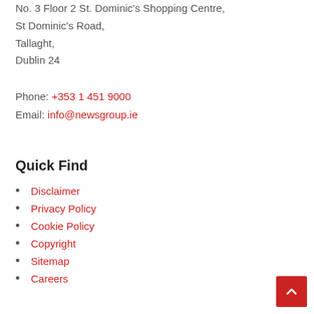No. 3 Floor 2 St. Dominic's Shopping Centre, St Dominic's Road, Tallaght, Dublin 24
Phone: +353 1 451 9000
Email: info@newsgroup.ie
Quick Find
Disclaimer
Privacy Policy
Cookie Policy
Copyright
Sitemap
Careers